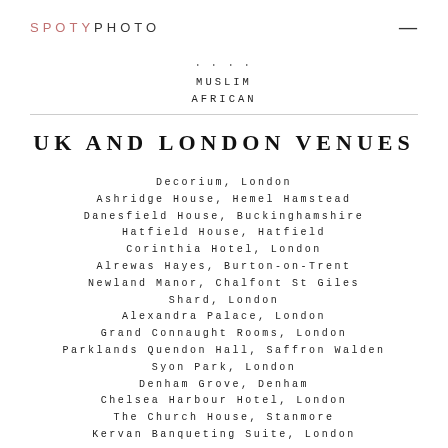SPOTYPHOTO
MUSLIM
AFRICAN
UK AND LONDON VENUES
Decorium, London
Ashridge House, Hemel Hamstead
Danesfield House, Buckinghamshire
Hatfield House, Hatfield
Corinthia Hotel, London
Alrewas Hayes, Burton-on-Trent
Newland Manor, Chalfont St Giles
Shard, London
Alexandra Palace, London
Grand Connaught Rooms, London
Parklands Quendon Hall, Saffron Walden
Syon Park, London
Denham Grove, Denham
Chelsea Harbour Hotel, London
The Church House, Stanmore
Kervan Banqueting Suite, London